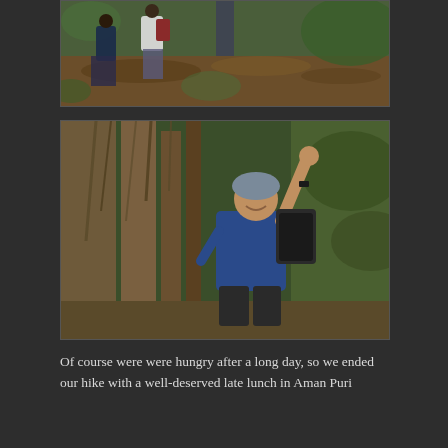[Figure (photo): Aerial/top-down view of hikers on a jungle trail with tree roots and tropical vegetation]
[Figure (photo): A young person wearing a blue shirt, backpack, and head covering, posing with hand raised among large banyan tree trunks in a forest]
Of course were we were hungry after a long day, so we ended our hike with a well-deserved late lunch in Aman Puri